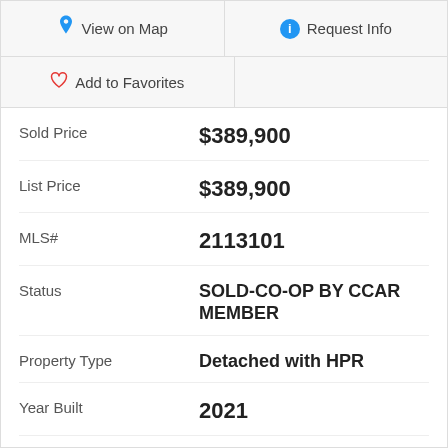View on Map
Request Info
Add to Favorites
| Field | Value |
| --- | --- |
| Sold Price | $389,900 |
| List Price | $389,900 |
| MLS# | 2113101 |
| Status | SOLD-CO-OP BY CCAR MEMBER |
| Property Type | Detached with HPR |
| Year Built | 2021 |
| Bedrooms | 3 |